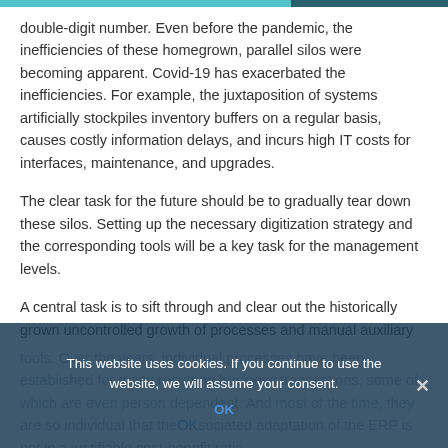double-digit number. Even before the pandemic, the inefficiencies of these homegrown, parallel silos were becoming apparent. Covid-19 has exacerbated the inefficiencies. For example, the juxtaposition of systems artificially stockpiles inventory buffers on a regular basis, causes costly information delays, and incurs high IT costs for interfaces, maintenance, and upgrades.
The clear task for the future should be to gradually tear down these silos. Setting up the necessary digitization strategy and the corresponding tools will be a key task for the management levels.
A central task is to sift through and clear out the historically grown uncontrolled growth of processes and manual auxiliary tools. Over the years, individual processes have been established for many recurring business transactions, some of which are even person dependent. And most of the time, they are so individual that the associated adaptation of the ERP is not in a justifiable cost-benefit ratio.
This website uses cookies. If you continue to use the website, we will assume your consent.